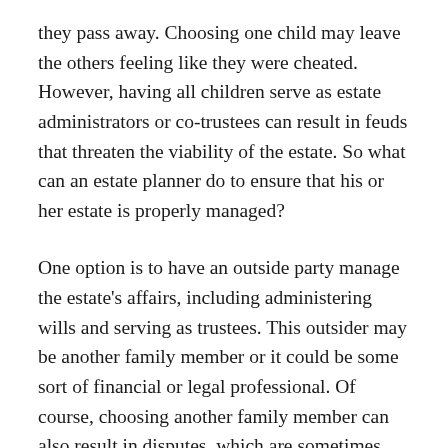they pass away. Choosing one child may leave the others feeling like they were cheated. However, having all children serve as estate administrators or co-trustees can result in feuds that threaten the viability of the estate. So what can an estate planner do to ensure that his or her estate is properly managed?
One option is to have an outside party manage the estate's affairs, including administering wills and serving as trustees. This outsider may be another family member or it could be some sort of financial or legal professional. Of course, choosing another family member can also result in disputes, which are sometimes simply unavoidable. What is important to remember is that those who engage in estate planning need to have trusted individuals upon